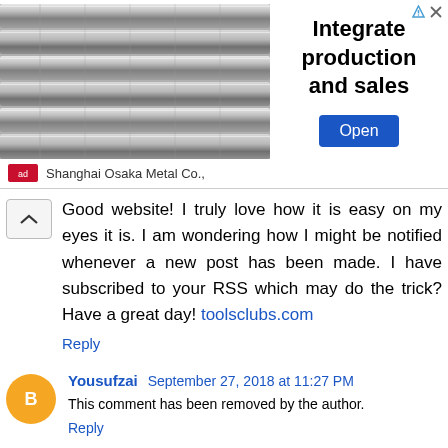[Figure (advertisement): Ad banner for Shanghai Osaka Metal Co. with image of metal pipes/rods on the left, text 'Integrate production and sales' in center, 'Open' button on right.]
Good website! I truly love how it is easy on my eyes it is. I am wondering how I might be notified whenever a new post has been made. I have subscribed to your RSS which may do the trick? Have a great day! toolsclubs.com
Reply
Yousufzai  September 27, 2018 at 11:27 PM
This comment has been removed by the author.
Reply
Unknown  February 3, 2019 at 10:05 PM
Amazing Article :) Im extremely affected by your blog.I'm happy that you simply shared this useful info with us. I am